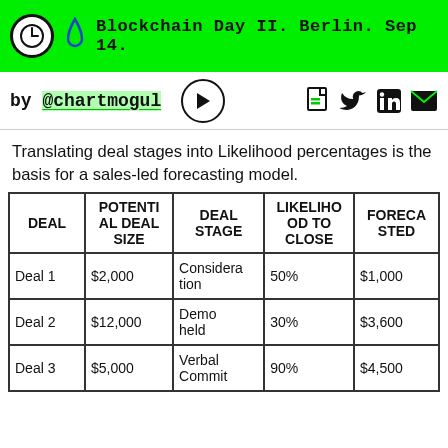Blockchain Day II. Berlin. Sep 14.
by @chartmogul
Translating deal stages into Likelihood percentages is the basis for a sales-led forecasting model.
| DEAL | POTENTIAL DEAL SIZE | DEAL STAGE | LIKELIHOOD TO CLOSE | FORECASTED |
| --- | --- | --- | --- | --- |
| Deal 1 | $2,000 | Consideration | 50% | $1,000 |
| Deal 2 | $12,000 | Demo held | 30% | $3,600 |
| Deal 3 | $5,000 | Verbal Commit | 90% | $4,500 |